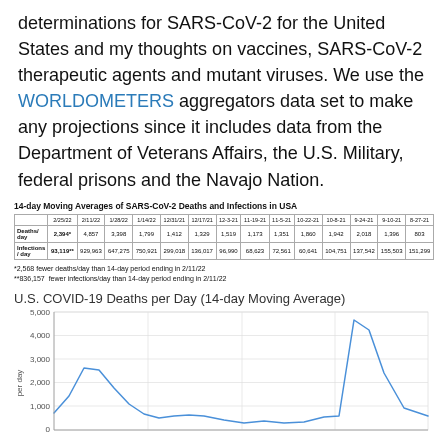determinations for SARS-CoV-2 for the United States and my thoughts on vaccines, SARS-CoV-2 therapeutic agents and mutant viruses. We use the WORLDOMETERS aggregators data set to make any projections since it includes data from the Department of Veterans Affairs, the U.S. Military, federal prisons and the Navajo Nation.
|  | 2/25/22 | 2/11/22 | 1/28/22 | 1/14/22 | 12/31/21 | 12/17/21 | 12-3-21 | 11-19-21 | 11-5-21 | 10-22-21 | 10-8-21 | 9-24-21 | 9-10-21 | 8-27-21 |
| --- | --- | --- | --- | --- | --- | --- | --- | --- | --- | --- | --- | --- | --- | --- |
| Deaths/day | 2,394* | 4,857 | 3,398 | 1,799 | 1,412 | 1,329 | 1,519 | 1,173 | 1,351 | 1,860 | 1,942 | 2,018 | 1,396 | 803 |
| Infections / day | 93,119** | 929,963 | 647,275 | 750,921 | 299,018 | 136,017 | 96,990 | 68,623 | 72,561 | 60,641 | 104,751 | 137,542 | 155,503 | 151,299 |
*2,568 fewer deaths/day than 14-day period ending in 2/11/22
**836,157  fewer infections/day than 14-day period ending in 2/11/22
[Figure (line-chart): Line chart showing U.S. COVID-19 deaths per day as a 14-day moving average. Y-axis from 0 to 5,000 with gridlines at 1,000 intervals. Shows a peak around 3,000 early in the period, then a large spike near 5,000 toward the right side of the chart, then declining.]